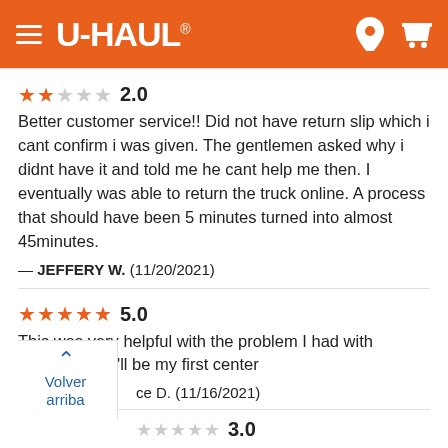[Figure (screenshot): U-Haul website header with orange background, hamburger menu, U-Haul logo, location pin icon, and cart icon]
★★☆☆☆ 2.0
Better customer service!! Did not have return slip which i cant confirm i was given. The gentlemen asked why i didnt have it and told me he cant help me then. I eventually was able to return the truck online. A process that should have been 5 minutes turned into almost 45minutes.
— JEFFERY W. (11/20/2021)
★★★★★ 5.0
This was very helpful with the problem I had with payment they'll be my first center
— [name partially hidden] ce D. (11/16/2021)
☆☆☆ 3.0
Slippery stuff inside the truck which causes a person loading to slip
Volver arriba